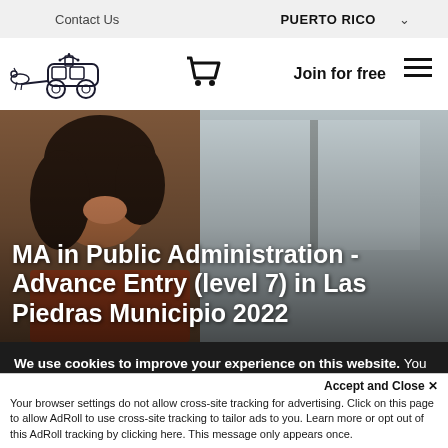Contact Us   PUERTO RICO ∨
[Figure (logo): Horse-drawn carriage logo illustration in dark ink]
Join for free  ≡
[Figure (photo): Woman smiling near a car window, background with partial view of window/street]
MA in Public Administration - Advance Entry (level 7) in Las Piedras Municipio 2022
We use cookies to improve your experience on this website. You can learn more about how and why we use cookies in our cookie policy. By using this website, you agree to the use of cookies.
Accept and Close ✕
Your browser settings do not allow cross-site tracking for advertising. Click on this page to allow AdRoll to use cross-site tracking to tailor ads to you. Learn more or opt out of this AdRoll tracking by clicking here. This message only appears once.